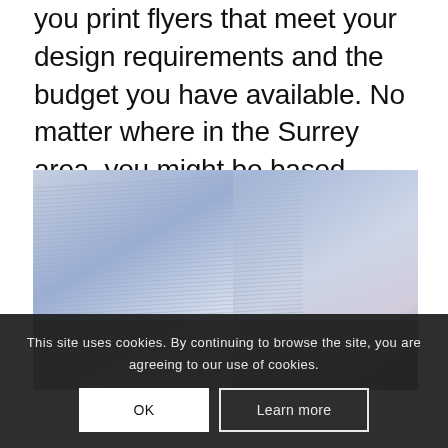you print flyers that meet your design requirements and the budget you have available. No matter where in the Surrey area, you might be based Cherrill Print of Wimbledon has you covered.
[Figure (photo): Close-up photo of a stack of printed paper/flyers with a blurred background, showing blue-toned layered paper edges.]
This site uses cookies. By continuing to browse the site, you are agreeing to our use of cookies.